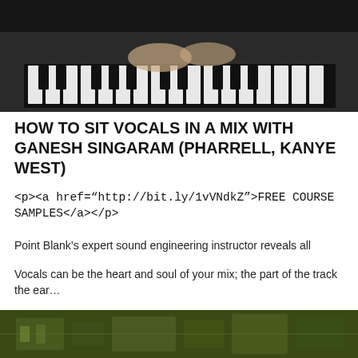[Figure (photo): Dark photo of a person's hands on a keyboard/synthesizer]
HOW TO SIT VOCALS IN A MIX WITH GANESH SINGARAM (PHARRELL, KANYE WEST)
<p><a href="http://bit.ly/1vVNdkZ">FREE COURSE SAMPLES</a></p>
Point Blank's expert sound engineering instructor reveals all
Vocals can be the heart and soul of your mix; the part of the track the ear...
[Figure (photo): Green-tinted image of electronic music equipment]